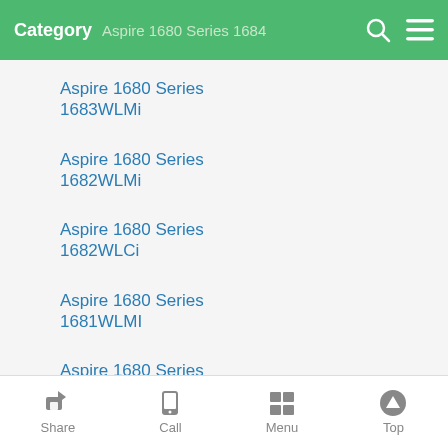Category  Aspire 1680 Series 1684
Aspire 1680 Series 1683WLMi
Aspire 1680 Series 1682WLMi
Aspire 1680 Series 1682WLCi
Aspire 1680 Series 1681WLMI
Aspire 1680 Series 1681WLCI
Aspire 1680 Series 1681
Aspire 1680 Series
Share  Call  Menu  Top